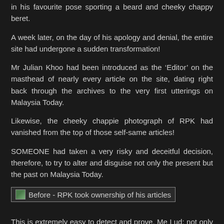in his favourite pose sporting a beard and cheeky chappy beret.
A week later, on the day of his apology and denial, the entire site had undergone a sudden transformation!
Mr Julian Khoo had been introduced as the ‘Editor’ on the masthead of nearly every article on the site, dating right back through the archives to the very first utterings on Malaysia Today.
Likewise, the cheeky chappie photograph of RPK had vanished from the top of those self-same articles!
SOMEONE had taken a very risky and deceitful decision, therefore, to try to alter and disguise not only the present but the past on Malaysia Today.
[Figure (screenshot): Image placeholder labelled: Before - RPK took ownership of his articles]
This is extremely easy to detect and prove, Me Lud: not only does our own captured copy of the site show exactly how SOMEONE has attempted to retrospectively alter it, in order to introduce a Mr Khoo (who simply did not exist as Editor before that date) and remove the presence of RPK, but every other public web archive